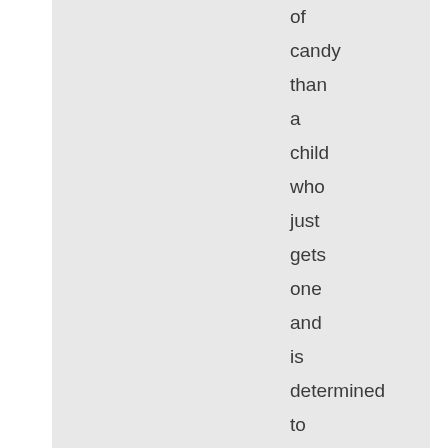of candy than a child who just gets one and is determined to make it last for as long as possible. I nibbled them all the way down, I sucked on them, I